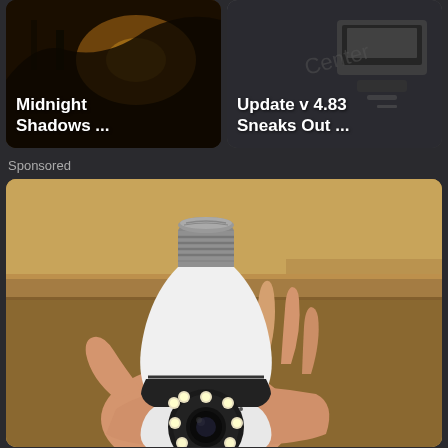[Figure (screenshot): Two content cards at top: left card shows 'Midnight Shadows ...' with dark background, right card shows 'Update v 4.83 Sneaks Out ...' with tech product background]
Sponsored
[Figure (photo): A hand holding a light bulb security camera — white teardrop-shaped device with a metal screw base at top and a rotating camera head at bottom featuring a circular lens surrounded by LED lights]